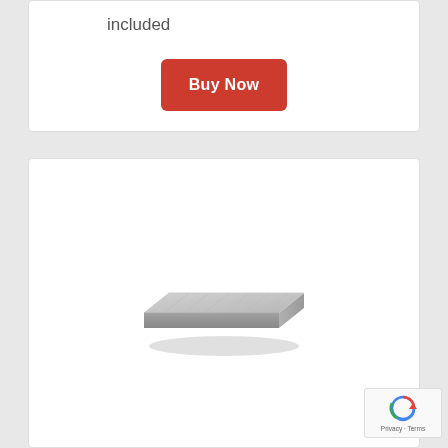included
Buy Now
[Figure (photo): Product photo of a low-profile mattress foundation/box spring, shown in perspective view, light grey color with slatted top surface]
Privacy · Terms